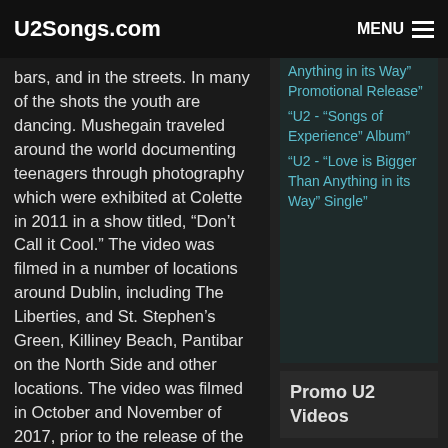U2Songs.com | MENU
bars, and in the streets. In many of the shots the youth are dancing. Mushegain traveled around the world documenting teenagers through photography which were exhibited at Colette in 2011 in a show titled, “Don’t Call it Cool.” The video was filmed in a number of locations around Dublin, including The Liberties, and St. Stephen’s Green, Killiney Beach, Pantibar on the North Side and other locations. The video was filmed in October and November of 2017, prior to the release of the album.
Anything in its Way” Promotional Release"
"U2 - “Songs of Experience” Album"
"U2 - “Love is Bigger Than Anything in its Way” Single"
Although his first music video, this isn’t Mushegain’s first touch with music. It was Mushegain that worked with the Red Hot
Promo U2 Videos